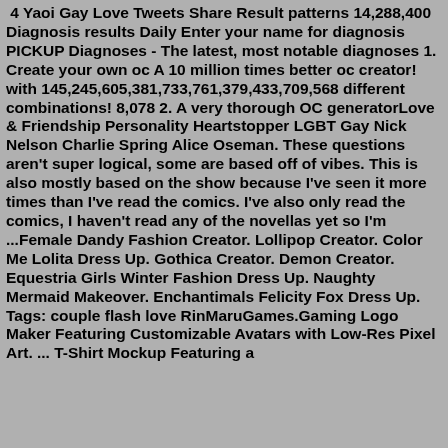​​​​​​​​​​​​​​ ​​​​​​​​​​​​​​​4 Yaoi Gay Love Tweets Share Result patterns 14,288,400 Diagnosis results​ Daily Enter your name for diagnosis PICKUP Diagnoses - The latest, most notable diagnoses 1. Create your own oc A 10 million times better oc creator! with 145,245,605,381,733,761,379,433,709,568 different combinations! 8,078 2. A very thorough OC generatorLove & Friendship Personality Heartstopper LGBT Gay Nick Nelson Charlie Spring Alice Oseman. These questions aren't super logical, some are based off of vibes. This is also mostly based on the show because I've seen it more times than I've read the comics. I've also only read the comics, I haven't read any of the novellas yet so I'm ...Female Dandy Fashion Creator. Lollipop Creator. Color Me Lolita Dress Up. Gothica Creator. Demon Creator. Equestria Girls Winter Fashion Dress Up. Naughty Mermaid Makeover. Enchantimals Felicity Fox Dress Up. Tags: couple flash love RinMaruGames.Gaming Logo Maker Featuring Customizable Avatars with Low-Res Pixel Art. ... T-Shirt Mockup Featuring a